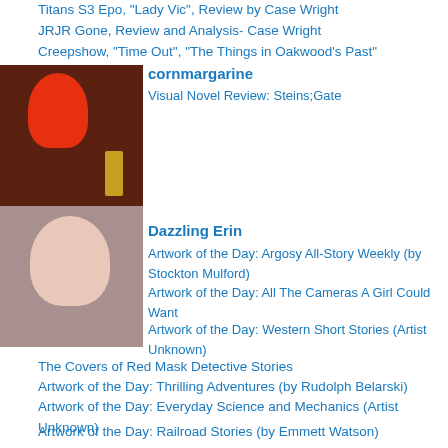Titans S3 Epo, "Lady Vic", Review by Case Wright
JRJR Gone, Review and Analysis- Case Wright
Creepshow, "Time Out", "The Things in Oakwood's Past"
cornmargarine
Visual Novel Review: Steins;Gate
[Figure (photo): Two stacked photos: top shows a red masked figure with decorative objects; bottom shows a young woman with pale skin and light hair]
Dazzling Erin
Artwork of the Day: Argosy All-Story Weekly (by Stockton Mulford)
Artwork of the Day: All The Cameras A Girl Could Want
Artwork of the Day: Western Short Stories (Artist Unknown)
The Covers of Red Mask Detective Stories
Artwork of the Day: Thrilling Adventures (by Rudolph Belarski)
Artwork of the Day: Everyday Science and Mechanics (Artist Unknown)
Artwork of the Day: Railroad Stories (by Emmett Watson)